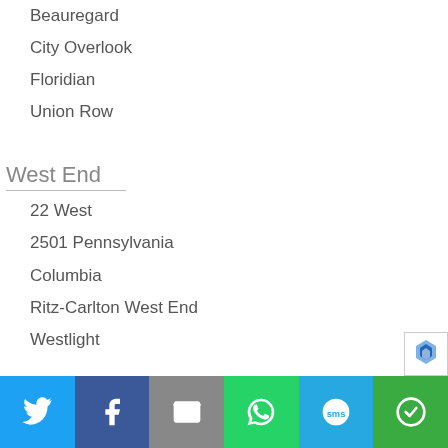Beauregard
City Overlook
Floridian
Union Row
West End
22 West
2501 Pennsylvania
Columbia
Ritz-Carlton West End
Westlight
Woodley Park
[Figure (other): Social sharing bar with Twitter, Facebook, Email, WhatsApp, SMS, and More buttons]